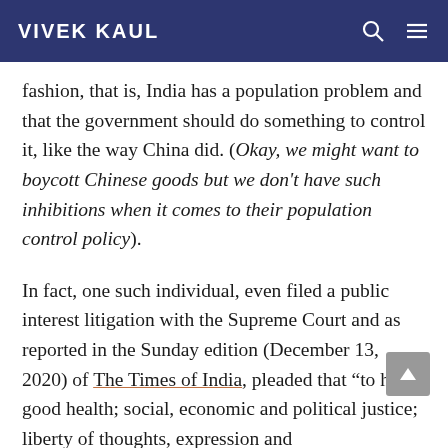VIVEK KAUL
fashion, that is, India has a population problem and that the government should do something to control it, like the way China did. (Okay, we might want to boycott Chinese goods but we don't have such inhibitions when it comes to their population control policy).
In fact, one such individual, even filed a public interest litigation with the Supreme Court and as reported in the Sunday edition (December 13, 2020) of The Times of India, pleaded that “to have good health; social, economic and political justice; liberty of thoughts, expression and